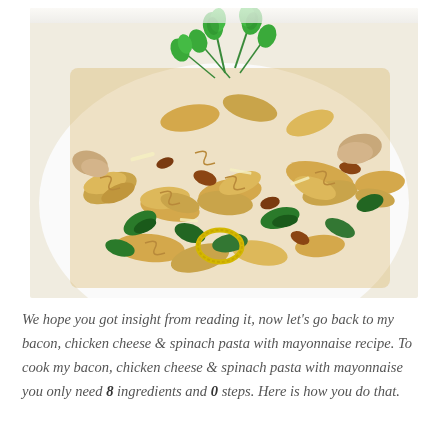[Figure (photo): A plate of fusilli pasta salad with chicken, bacon, spinach, yellow pepper rings, and fresh parsley garnish on a white plate.]
We hope you got insight from reading it, now let's go back to my bacon, chicken cheese & spinach pasta with mayonnaise recipe. To cook my bacon, chicken cheese & spinach pasta with mayonnaise you only need 8 ingredients and 0 steps. Here is how you do that.